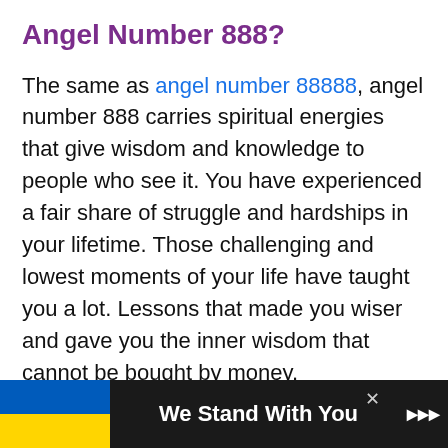Angel Number 888?
The same as angel number 88888, angel number 888 carries spiritual energies that give wisdom and knowledge to people who see it. You have experienced a fair share of struggle and hardships in your lifetime. Those challenging and lowest moments of your life have taught you a lot. Lessons that made you wiser and gave you the inner wisdom that cannot be bought by money.
Just like angel number 222, seeing angel number 888 means that you have this inner strength in…
[Figure (other): Advertisement banner at the bottom of the page showing Ukraine flag colors (blue and yellow) with the text 'We Stand With You' on a dark background, with a close button and logo]